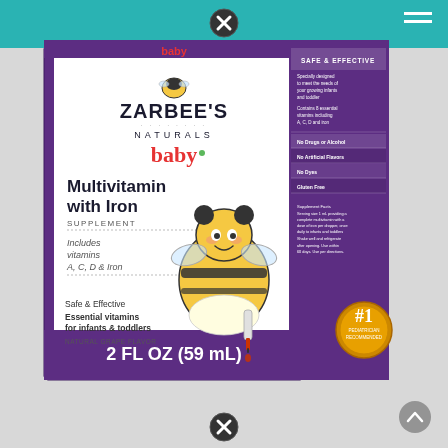[Figure (photo): Screenshot of a product page showing Zarbee's Naturals Baby Multivitamin with Iron Supplement, Natural Grape Flavor, 2 FL OZ (59 mL). The product box is purple and white, featuring a cartoon bee character, and lists: Safe & Effective, Essential vitamins for infants & toddlers, Includes vitamins A, C, D & Iron. Teal navigation bar at top with close (X) button and hamburger menu icon. Gray background.]